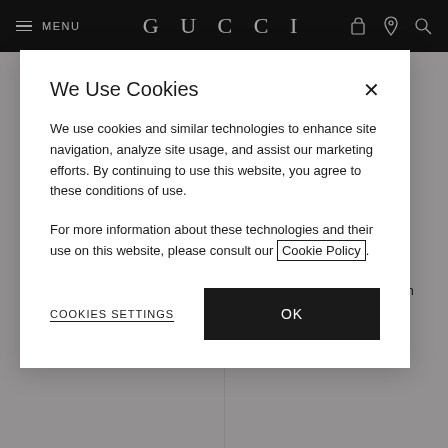MENU  GUCCI
We Use Cookies
We use cookies and similar technologies to enhance site navigation, analyze site usage, and assist our marketing efforts. By continuing to use this website, you agree to these conditions of use.
For more information about these technologies and their use on this website, please consult our Cookie Policy.
COOKIES SETTINGS
OK
[Figure (photo): Black leather Gucci women's GG ankle boot with buckles, featuring chunky lug sole]
Women's GG ankle boot with buckles
[Figure (photo): White/cream leather Gucci women's GG ankle boot with buckles, featuring tan chunky lug sole]
Women's GG ankle boot with buckles